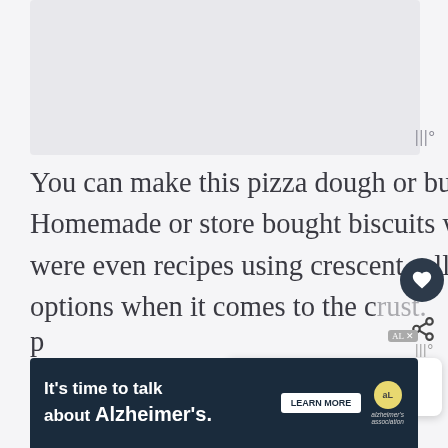[Figure (photo): Light gray placeholder image area at the top of the page]
You can make this pizza dough or buy it from the store. Homemade or store bought biscuits will work great too. There were even recipes using crescent roll dough too. So plenty of options when it comes to the crust.
[Figure (infographic): What's Next popup showing Pineapple Upside Dow... with a circular food thumbnail image]
[Figure (infographic): Advertisement banner: It's time to talk about Alzheimer's. with LEARN MORE button and Alzheimer's association logo]